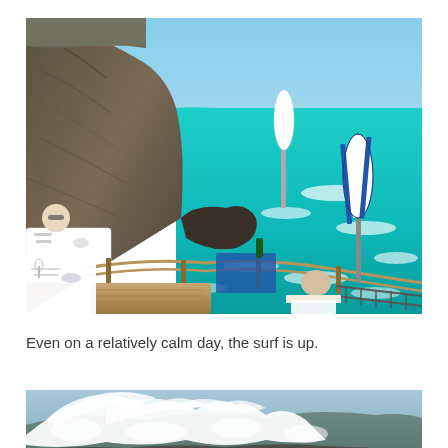[Figure (photo): Outdoor cliffside restaurant terrace overlooking a turquoise choppy sea. Rocky cliff face visible on the left, dining tables with white tablecloths, a person in white seated at a table, rope railing along the terrace, blue and white striped beach umbrella in the center, another person seated at a far table. Bright sunny day with blue sky.]
Even on a relatively calm day, the surf is up.
[Figure (photo): Partial photo showing crashing white surf spray against rocks with mountains visible in the background. Only the top portion of the image is visible.]